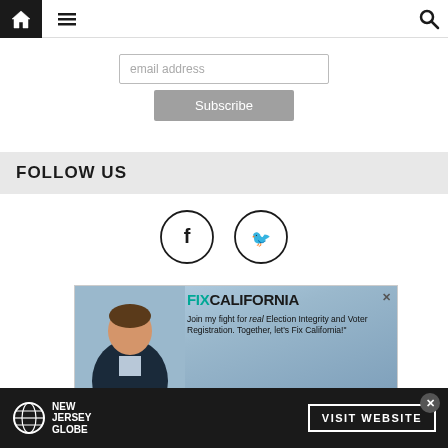Navigation bar with home icon, menu icon, and search icon
email address
Subscribe
FOLLOW US
[Figure (illustration): Facebook and Twitter circular social media icons]
[Figure (photo): Fix California advertisement with man in suit, text: FIX CALIFORNIA - Join my fight for real Election Integrity and Voter Registration. Together, let's Fix California!]
[Figure (logo): New Jersey Globe advertisement banner with globe icon and Visit Website button]